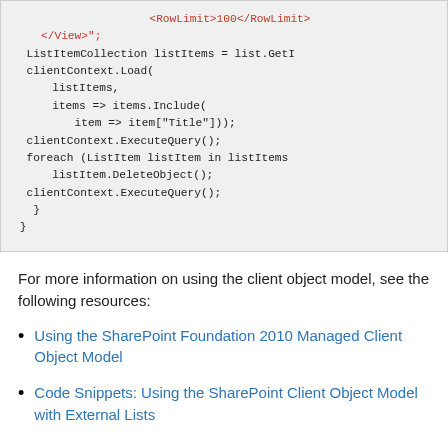[Figure (screenshot): Code block showing C# SharePoint client object model code with ListItemCollection, clientContext.Load, items.Include, item["Title"], clientContext.ExecuteQuery, foreach loop with listItem.DeleteObject, and closing braces.]
For more information on using the client object model, see the following resources:
Using the SharePoint Foundation 2010 Managed Client Object Model
Code Snippets: Using the SharePoint Client Object Model with External Lists